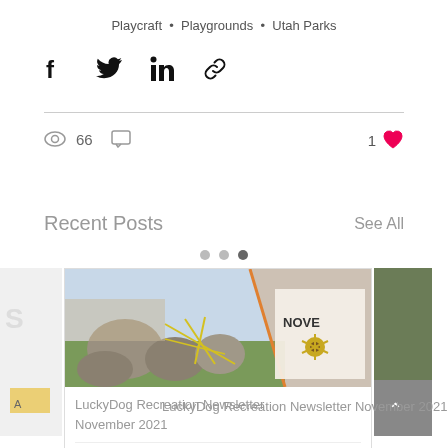Playcraft · Playgrounds · Utah Parks
[Figure (other): Social share icons: Facebook, Twitter, LinkedIn, link]
66 views, 0 comments, 1 like
Recent Posts
See All
[Figure (photo): Carousel of recent post thumbnails, with center image showing a playground with large boulders and yellow rope structure outdoors, a November newsletter overlay card, and partial cards on either side]
LuckyDog Recreation Newsletter November 2021